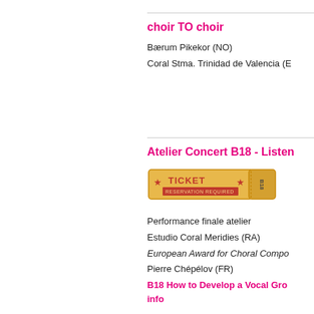choir TO choir
Bærum Pikekor (NO)
Coral Stma. Trinidad de Valencia (E)
Atelier Concert B18 - Listen
[Figure (illustration): Ticket image with star ticket reservation required text]
Performance finale atelier
Estudio Coral Meridies (RA)
European Award for Choral Composition
Pierre Chépélov (FR)
B18 How to Develop a Vocal Group info